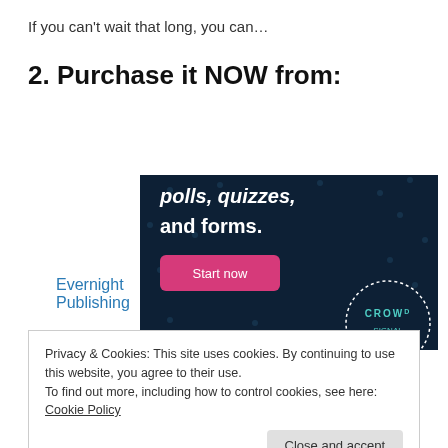If you can't wait that long, you can…
2. Purchase it NOW from:
Evernight Publishing
[Figure (screenshot): Dark blue advertisement banner with text 'polls, quizzes, and forms.' and a pink 'Start now' button, with a Crowd logo circle in the bottom right.]
Privacy & Cookies: This site uses cookies. By continuing to use this website, you agree to their use.
To find out more, including how to control cookies, see here: Cookie Policy
Close and accept